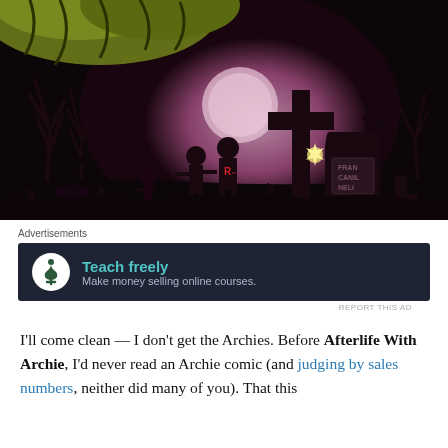[Figure (illustration): Comic book illustration of a graveyard scene at night. Dark, horror-themed artwork showing silhouettes of zombie-like figures walking among gravestones and bare trees. A large cross gravestone is prominent in the center-right. The sky is a pink/purple hue suggesting moonlight. One figure wears an 'R' on their shirt (Archie reference). A gravestone reads 'FRAN CANIL NELI'. A large monstrous creature looms in the upper portion of the image.]
Advertisements
[Figure (screenshot): Advertisement banner with dark navy background. Shows a circular white icon with a tree/person logo. Text reads 'Teach freely' in teal/cyan bold font, with subtitle 'Make money selling online courses.' in lighter gray text.]
REPORT THIS AD
I'll come clean — I don't get the Archies. Before Afterlife With Archie, I'd never read an Archie comic (and judging by sales numbers, neither did many of you). That this